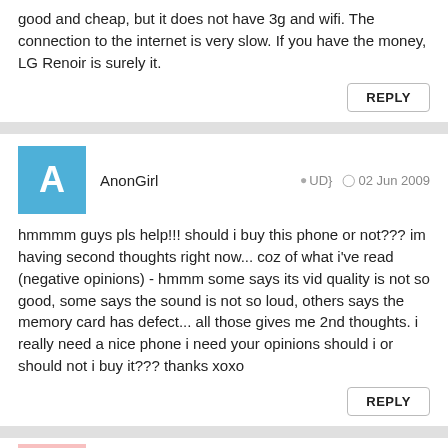good and cheap, but it does not have 3g and wifi. The connection to the internet is very slow. If you have the money, LG Renoir is surely it.
REPLY
AnonGirl   UD}   02 Jun 2009
hmmmm guys pls help!!! should i buy this phone or not??? im having second thoughts right now... coz of what i've read (negative opinions) - hmmm some says its vid quality is not so good, some says the sound is not so loud, others says the memory card has defect... all those gives me 2nd thoughts. i really need a nice phone i need your opinions should i or should not i buy it??? thanks xoxo
REPLY